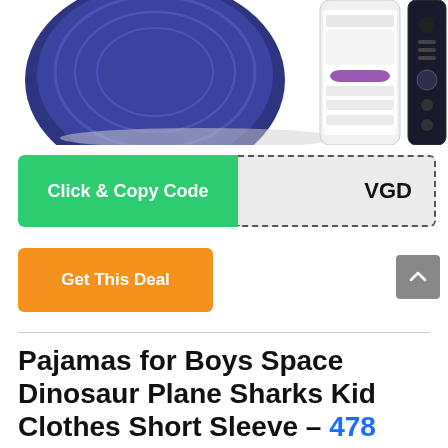[Figure (photo): Product image showing a robot vacuum cleaner (dark blue/navy color) alongside a smartphone app interface and a remote control on white background.]
Click & Copy Code
VGD
Get This Deal
Pajamas for Boys Space Dinosaur Plane Sharks Kid Clothes Short Sleeve – 478